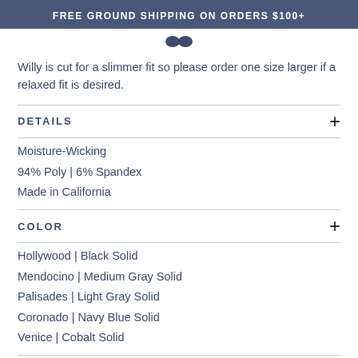FREE GROUND SHIPPING ON ORDERS $100+
Willy is cut for a slimmer fit so please order one size larger if a relaxed fit is desired.
DETAILS
Moisture-Wicking
94% Poly  |  6% Spandex
Made in California
COLOR
Hollywood | Black Solid
Mendocino | Medium Gray Solid
Palisades | Light Gray Solid
Coronado | Navy Blue Solid
Venice | Cobalt Solid